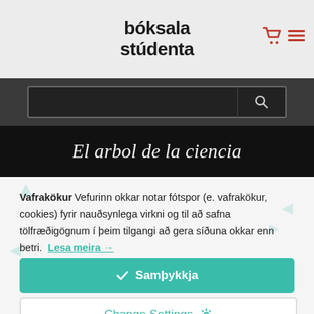[Figure (logo): Bóksala stúdenta logo with bold black text on light grey background, with red shopping cart icon and hamburger menu icon in top right]
[Figure (screenshot): Dark search bar with text input field and search button with magnifying glass icon]
[Figure (screenshot): Black banner with italic white text reading 'El arbol de la ciencia']
Vafrakökur Vefurinn okkar notar fótspor (e. vafrakökur, cookies) fyrir nauðsynlega virkni og til að safna tölfræðigögnum í þeim tilgangi að gera síðuna okkar enn betri. Lesa meira →
✓  Samþykkja
Change Settings ⚙